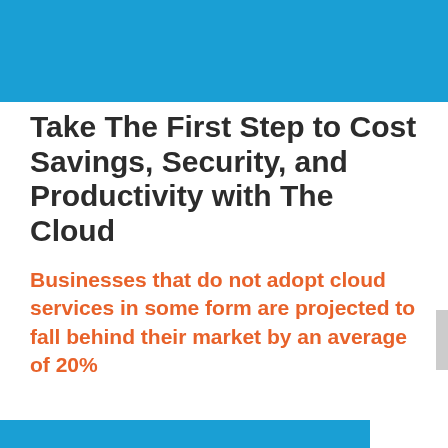Take The First Step to Cost Savings, Security, and Productivity with The Cloud
Businesses that do not adopt cloud services in some form are projected to fall behind their market by an average of 20%